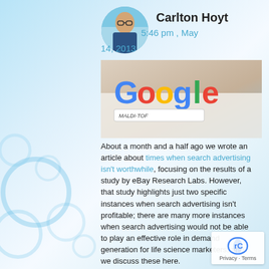[Figure (photo): Profile photo of Carlton Hoyt, a man with glasses]
Carlton Hoyt
5:46 pm , May 14, 2013
[Figure (screenshot): Image showing the Google logo with 'MALDI-TOF' text being written, and a person's face visible in the background]
About a month and a half ago we wrote an article about times when search advertising isn't worthwhile, focusing on the results of a study by eBay Research Labs. However, that study highlights just two specific instances when search advertising isn't profitable; there are many more instances when search advertising would not be able to play an effective role in demand generation for life science marketers, and we discuss these here.